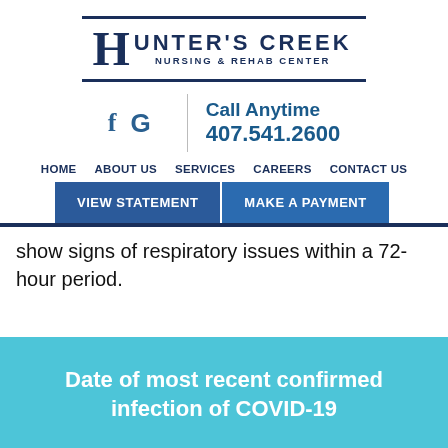[Figure (logo): Hunter's Creek Nursing & Rehab Center logo with double horizontal lines]
f  G  |  Call Anytime  407.541.2600
HOME  ABOUT US  SERVICES  CAREERS  CONTACT US
VIEW STATEMENT  MAKE A PAYMENT
show signs of respiratory issues within a 72-hour period.
Date of most recent confirmed infection of COVID-19